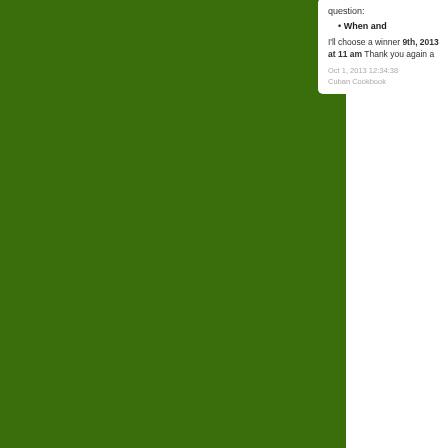[Figure (other): Dark green background panel occupying the left ~75% of the page]
question:
When and
I'll choose a winner 9th, 2013 at 11 am Thank you again a
Oct 1, 2013 12:34:38
Cuban Cookbook
Comm
The Thing
My dear friend, Jan lettering artist. Eac piece of art and sh
I love visiting her p
Because she is my off my "Marta-isms